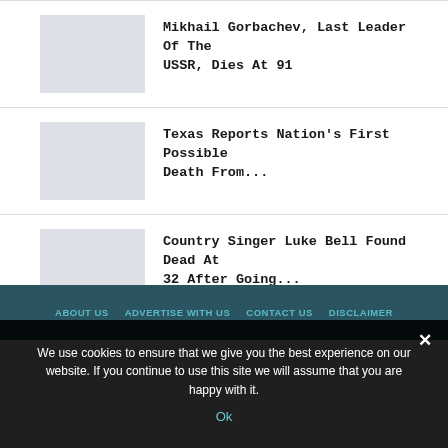[Figure (photo): Thumbnail placeholder image for Mikhail Gorbachev article]
Mikhail Gorbachev, Last Leader Of The USSR, Dies At 91
[Figure (photo): Thumbnail placeholder image for Texas article]
Texas Reports Nation's First Possible Death From...
[Figure (photo): Thumbnail placeholder image for Luke Bell article]
Country Singer Luke Bell Found Dead At 32 After Going...
ABOUT US   ADVERTISE WITH US   CONTACT US   DISCLAIMER
We use cookies to ensure that we give you the best experience on our website. If you continue to use this site we will assume that you are happy with it.
Ok